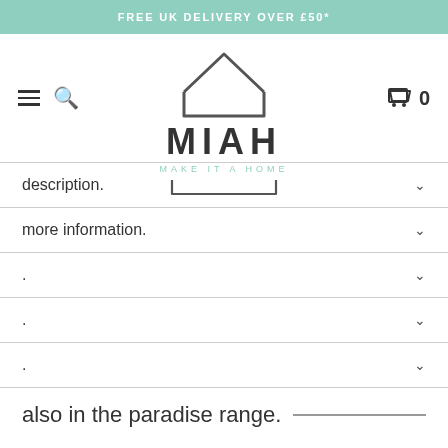FREE UK DELIVERY OVER £50*
[Figure (logo): MIAH Make It A Home logo with house outline icon and the text MIAH in large letters, MAKE IT A HOME in small teal letters beneath]
description.
more information.
.
.
.
also in the paradise range.